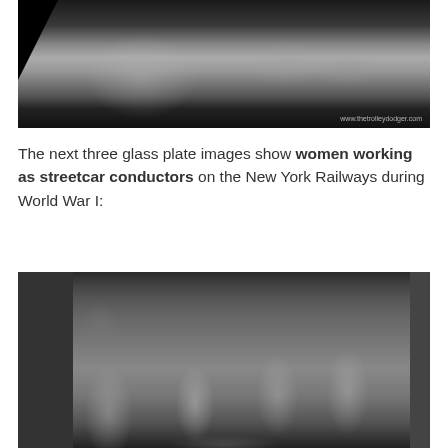[Figure (photo): Black and white historical photograph, partially cropped at top, showing people standing, with black corner at top-left, watermark reading www.thetrolleydodger.com at bottom right]
The next three glass plate images show women working as streetcar conductors on the New York Railways during World War I:
[Figure (photo): Black and white glass plate photograph showing women working as streetcar conductors on the New York Railways during World War I. A group of people including uniformed women and a seated man are posed together, likely at a train station or depot.]